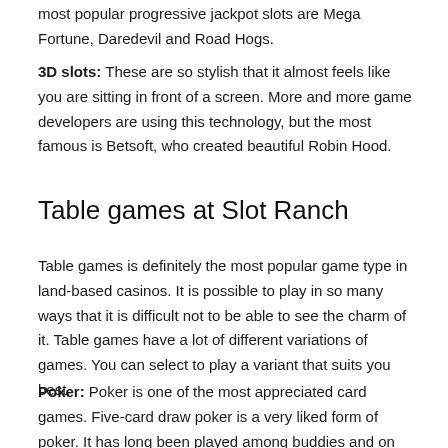most popular progressive jackpot slots are Mega Fortune, Daredevil and Road Hogs.
3D slots: These are so stylish that it almost feels like you are sitting in front of a screen. More and more game developers are using this technology, but the most famous is Betsoft, who created beautiful Robin Hood.
Table games at Slot Ranch
Table games is definitely the most popular game type in land-based casinos. It is possible to play in so many ways that it is difficult not to be able to see the charm of it. Table games have a lot of different variations of games. You can select to play a variant that suits you best.
Poker: Poker is one of the most appreciated card games. Five-card draw poker is a very liked form of poker. It has long been played among buddies and on land-based casinos.